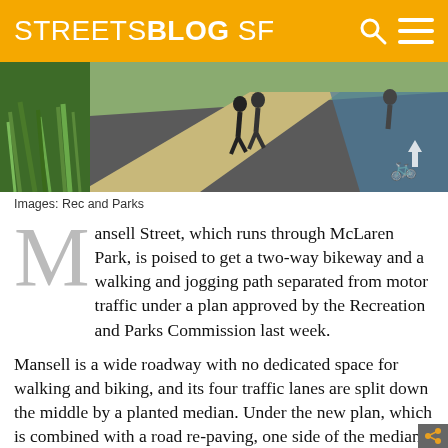STREETSBLOG SF
[Figure (photo): Rendering of a pedestrian and bike path through McLaren Park on Mansell Street, showing people walking, a bike lane, and greenery]
Images: Rec and Parks
Mansell Street, which runs through McLaren Park, is poised to get a two-way bikeway and a walking and jogging path separated from motor traffic under a plan approved by the Recreation and Parks Commission last week.
Mansell is a wide roadway with no dedicated space for walking and biking, and its four traffic lanes are split down the middle by a planted median. Under the new plan, which is combined with a road re-paving, one side of the median will be...